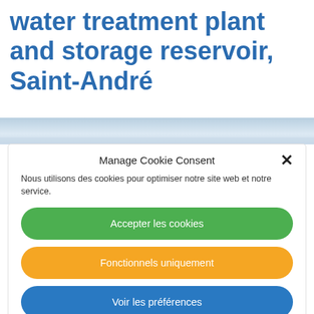water treatment plant and storage reservoir, Saint-André
[Figure (photo): Partial view of a water treatment plant or reservoir, showing a light blue/grey sky and water surface strip at the top of the page]
Manage Cookie Consent
Nous utilisons des cookies pour optimiser notre site web et notre service.
Accepter les cookies
Fonctionnels uniquement
Voir les préférences